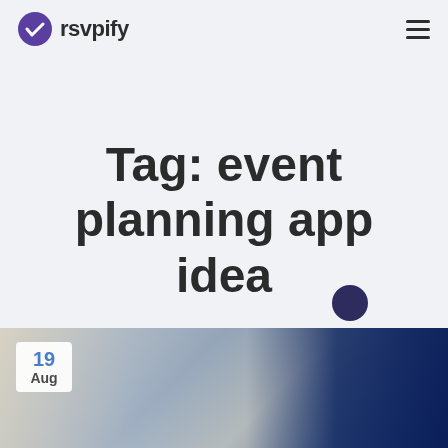rsvpify
Tag: event planning app idea
[Figure (photo): Blog article thumbnail showing a person using a tablet, with a dark blue data visualization overlay on the right side. Date badge showing 19 Aug in bottom-left corner.]